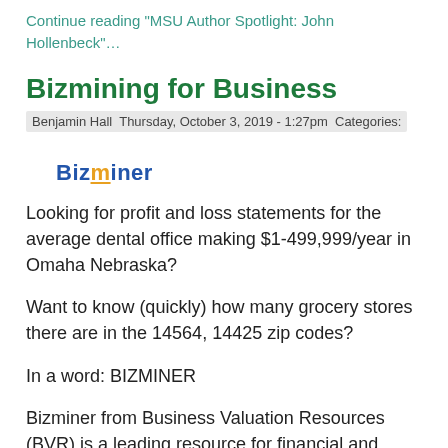Continue reading “MSU Author Spotlight: John Hollenbeck”…
Bizmining for Business
Benjamin Hall  Thursday, October 3, 2019 - 1:27pm  Categories:
[Figure (logo): Bizminer logo with blue 'Biz' text and orange 'miner' text]
Looking for profit and loss statements for the average dental office making $1-499,999/year in Omaha Nebraska?
Want to know (quickly) how many grocery stores there are in the 14564, 14425 zip codes?
In a word: BIZMINER
Bizminer from Business Valuation Resources (BVR) is a leading resource for financial and marketing data for